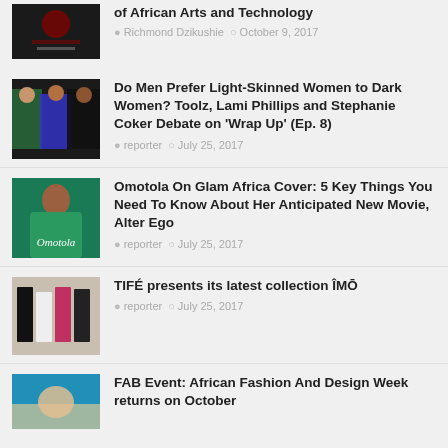of African Arts and Technology
Richmond Dzikushie · October 9, 2017
Do Men Prefer Light-Skinned Women to Dark Women? Toolz, Lami Phillips and Stephanie Coker Debate on 'Wrap Up' (Ep. 8)
reporter · July 25, 2017
Omotola On Glam Africa Cover: 5 Key Things You Need To Know About Her Anticipated New Movie, Alter Ego
reporter · July 25, 2017
TIFÉ presents its latest collection ÎMŌ
reporter · July 25, 2017
FAB Event: African Fashion And Design Week returns on October